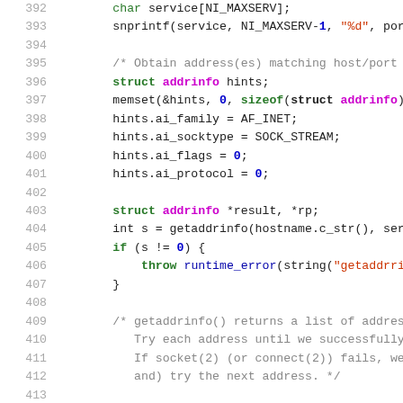[Figure (screenshot): C++ source code snippet showing lines 392-418, featuring socket programming with getaddrinfo, struct addrinfo, and a for loop iterating over address results.]